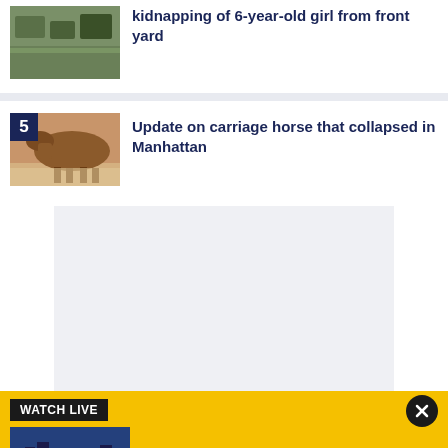[Figure (photo): Aerial or outdoor scene thumbnail for news item about kidnapping]
kidnapping of 6-year-old girl from front yard
[Figure (photo): Horse standing in stable, number 5 badge overlay]
Update on carriage horse that collapsed in Manhattan
[Figure (other): Gray advertisement placeholder rectangle]
[Figure (screenshot): Fox 5 New York city skyline thumbnail]
WATCH LIVE
Watch the 6 O'Clock News